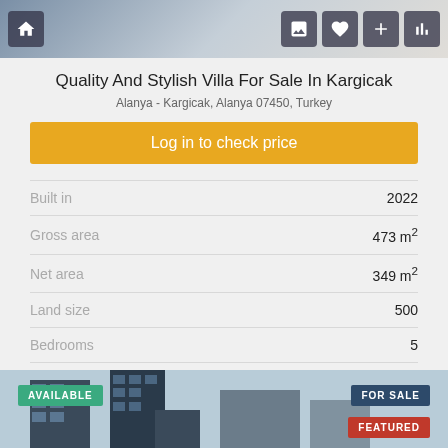Quality And Stylish Villa For Sale In Kargicak
Alanya - Kargicak, Alanya 07450, Turkey
Log in to check price
| Property | Value |
| --- | --- |
| Built in | 2022 |
| Gross area | 473 m² |
| Net area | 349 m² |
| Land size | 500 |
| Bedrooms | 5 |
| Type | Villa |
| Status | Available |
AVAILABLE
FOR SALE
FEATURED